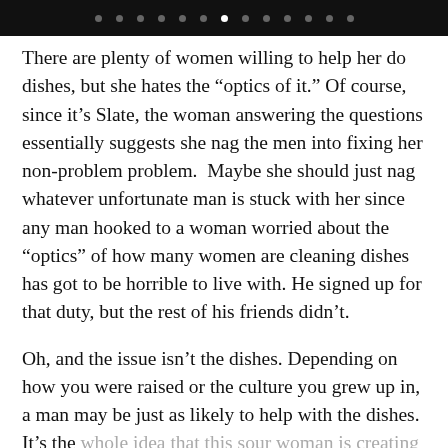• • • • • • • • • • • • •
There are plenty of women willing to help her do dishes, but she hates the “optics of it.” Of course, since it’s Slate, the woman answering the questions essentially suggests she nag the men into fixing her non-problem problem.  Maybe she should just nag whatever unfortunate man is stuck with her since any man hooked to a woman worried about the “optics” of how many women are cleaning dishes has got to be horrible to live with. He signed up for that duty, but the rest of his friends didn’t.
Oh, and the issue isn’t the dishes. Depending on how you were raised or the culture you grew up in, a man may be just as likely to help with the dishes. It’s the whole idea that this sour woman is creating a problem because something bothers her feminist sensibilities.